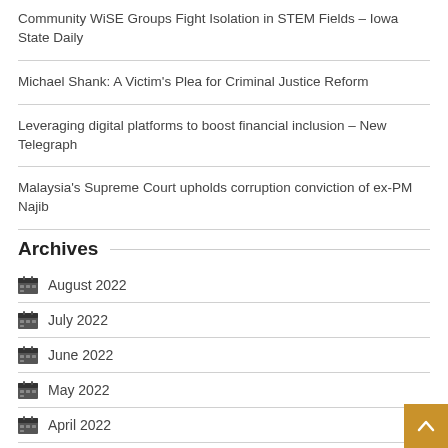Community WiSE Groups Fight Isolation in STEM Fields – Iowa State Daily
Michael Shank: A Victim's Plea for Criminal Justice Reform
Leveraging digital platforms to boost financial inclusion – New Telegraph
Malaysia's Supreme Court upholds corruption conviction of ex-PM Najib
Archives
August 2022
July 2022
June 2022
May 2022
April 2022
March 2022